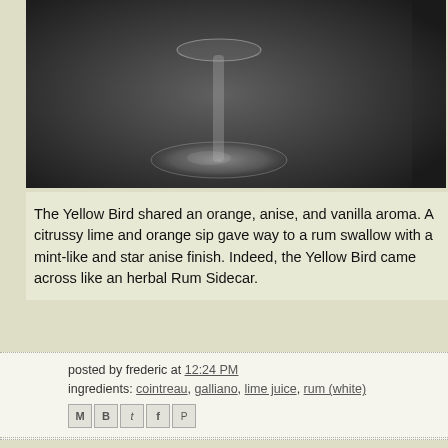[Figure (photo): Bottom of a cocktail glass resting on a dark surface, seen from above]
The Yellow Bird shared an orange, anise, and vanilla aroma. A citrussy lime and orange sip gave way to a rum swallow with a mint-like and star anise finish. Indeed, the Yellow Bird came across like an herbal Rum Sidecar.
posted by frederic at 12:24 PM
ingredients: cointreau, galliano, lime juice, rum (white)
[Figure (infographic): Share icons: email (M), blogger (B), twitter (t), facebook (f), pinterest (P)]
No comments:
Post a Comment
Newer Post
Home
Older P
Subscribe to: Post Comments (Atom)